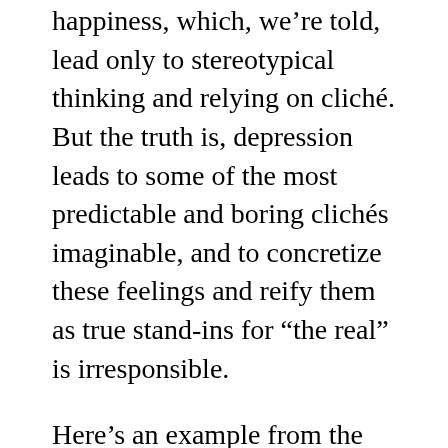happiness, which, we're told, lead only to stereotypical thinking and relying on cliché. But the truth is, depression leads to some of the most predictable and boring clichés imaginable, and to concretize these feelings and reify them as true stand-ins for “the real” is irresponsible.
Here’s an example from the article about the alleged benefits of depression: “It [depression] helps people reduce judgmental bias, improve attention, increase perseverance, and generally promotes a more skeptical, detailed and attentive thinking style.” And another,